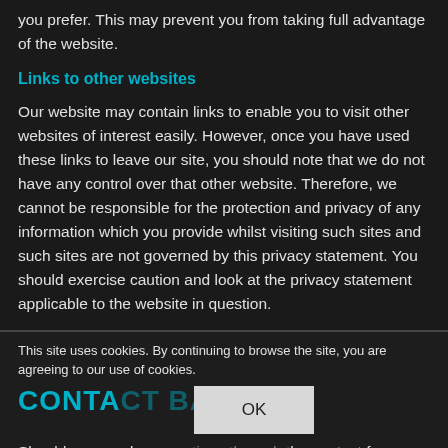you prefer. This may prevent you from taking full advantage of the website.
Links to other websites
Our website may contain links to enable you to visit other websites of interest easily. However, once you have used these links to leave our site, you should note that we do not have any control over that other website. Therefore, we cannot be responsible for the protection and privacy of any information which you provide whilst visiting such sites and such sites are not governed by this privacy statement. You should exercise caution and look at the privacy statement applicable to the website in question.
This site uses cookies. By continuing to browse the site, you are agreeing to our use of cookies.
CONTACT BARN
Should you send us qu... he contact form, we will collect the data entered on the form, including the